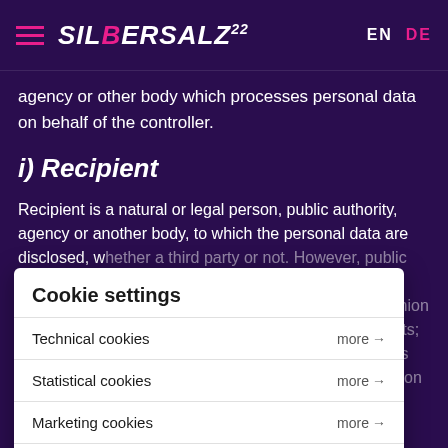SILBERSALZ22  EN  DE
agency or other body which processes personal data on behalf of the controller.
i) Recipient
Recipient is a natural or legal person, public authority, agency or another body, to which the personal data are disclosed, whether a third party or not. However, public authorities which may receive personal data in the framework of a particular inquiry in accordance with Union or Member State law shall not be regarded as recipients; the processing of those data by those public authorities shall be in compliance with the applicable data protection rules according to the purposes of the processing.
Cookie settings
Technical cookies  more →
Statistical cookies  more →
Marketing cookies  more →
Save settings  Accept all